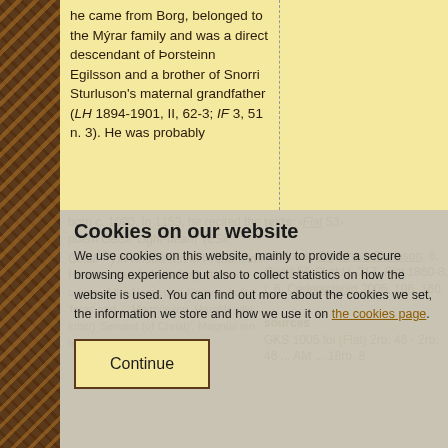he came from Borg, belonged to the Mýrar family and was a direct descendant of Þorsteinn Egilsson and a brother of Snorri Sturluson's maternal grandfather (LH 1894-1901, II, 62-3; IF 3, 51 n. 3). He was probably
born c. 1090. In 1153, he recited the poem Geisli 'Light-beam' (ESk GeislVII) in Kristkirken in Þrondheimr. He was marshal (stallari) at ... texts: ‹Flat 53› editions: Skj Einarr Skúlason: 6. Geisli 56 Skald I, 217; Flat 1860-8, I, 6, Cederschiöld 2005, 106, 160. sources GKS 1005 fol (Flat) 2rb, 46 - 2rb, 46
Cookies on our website
We use cookies on this website, mainly to provide a secure browsing experience but also to collect statistics on how the website is used. You can find out more about the cookies we set, the information we store and how we use it on the cookies page.
Continue